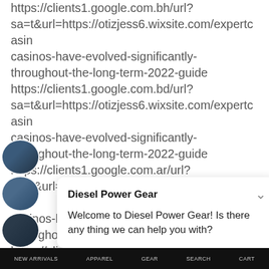https://clients1.google.com.bh/url?sa=t&url=https://otizjess6.wixsite.com/expertcasin casinos-have-evolved-significantly-throughout-the-long-term-2022-guide https://clients1.google.com.bd/url?sa=t&url=https://otizjess6.wixsite.com/expertcasin casinos-have-evolved-significantly-throughout-the-long-term-2022-guide https://clients1.google.com.ar/url?sa=t&url=https://otizjess6.wixsite.com/expertcasin casinos-have-evolved-significantly-throughout-the-long-term-2022-guide https://clients1.google.com.ag/url?sa=t&url=https://otizjess6.wixsite.com/expertcasin casinos-have-evolved-significantly-
[Figure (screenshot): Chat popup from Diesel Power Gear with bold title and welcome message]
NEW ARRIVALS   APPAREL   GEAR   SEARCH   CART